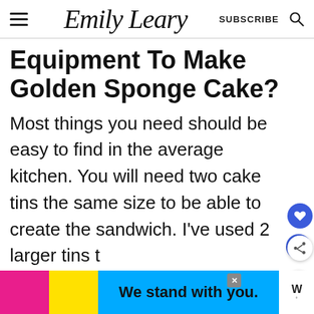Emily Leary — SUBSCRIBE
Equipment To Make Golden Sponge Cake?
Most things you need should be easy to find in the average kitchen. You will need two cake tins the same size to be able to create the sandwich. I've used 2 larger tins t create a wider cake, or you can use s
We stand with you.